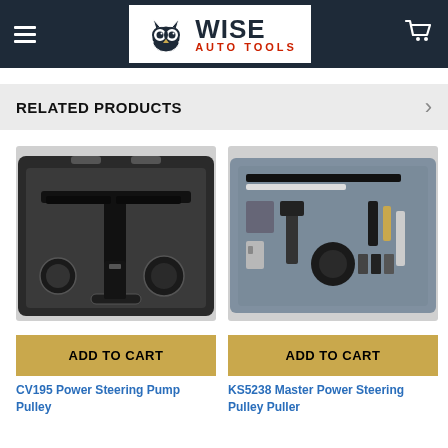[Figure (logo): Wise Auto Tools logo with owl icon on dark navy header bar]
RELATED PRODUCTS
[Figure (photo): CV195 Power Steering Pump Pulley tool set in black carrying case]
[Figure (photo): KS5238 Master Power Steering Pulley tool set in grey case]
ADD TO CART
ADD TO CART
CV195 Power Steering Pump Pulley
KS5238 Master Power Steering Pulley Puller